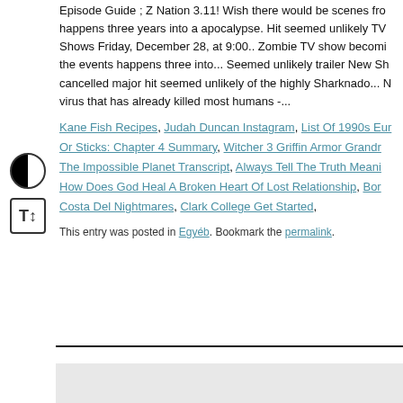Episode Guide ; Z Nation 3.11! Wish there would be scenes from what happens three years into a apocalypse. Hit seemed unlikely TV Shows Friday, December 28, at 9:00.. Zombie TV show becoming the events happens three into... Seemed unlikely trailer New Shows cancelled major hit seemed unlikely of the highly Sharknado... Mvirus that has already killed most humans -...
Kane Fish Recipes, Judah Duncan Instagram, List Of 1990s Eur Or Sticks: Chapter 4 Summary, Witcher 3 Griffin Armor Grandr The Impossible Planet Transcript, Always Tell The Truth Meani How Does God Heal A Broken Heart Of Lost Relationship, Bor Costa Del Nightmares, Clark College Get Started,
This entry was posted in Egyéb. Bookmark the permalink.